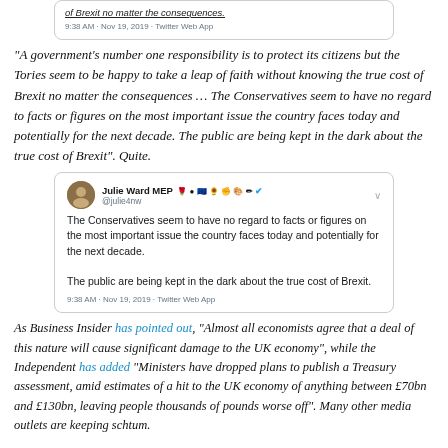[Figure (screenshot): Top portion of a tweet (cut off at top) showing italic underlined text about Brexit consequences, timestamped 9:38 AM · Nov 19, 2019 · Twitter Web App]
“A government’s number one responsibility is to protect its citizens but the Tories seem to be happy to take a leap of faith without knowing the true cost of Brexit no matter the consequences … The Conservatives seem to have no regard to facts or figures on the most important issue the country faces today and potentially for the next decade. The public are being kept in the dark about the true cost of Brexit”. Quite.
[Figure (screenshot): Tweet by Julie Ward MEP (@julie4nw) reading: 'The Conservatives seem to have no regard to facts or figures on the most important issue the country faces today and potentially for the next decade. The public are being kept in the dark about the true cost of Brexit.' Timestamped 9:38 AM · Nov 19, 2019 · Twitter Web App]
As Business Insider has pointed out, “Almost all economists agree that a deal of this nature will cause significant damage to the UK economy”, while the Independent has added “Ministers have dropped plans to publish a Treasury assessment, amid estimates of a hit to the UK economy of anything between £70bn and £130bn, leaving people thousands of pounds worse off”. Many other media outlets are keeping schtum.